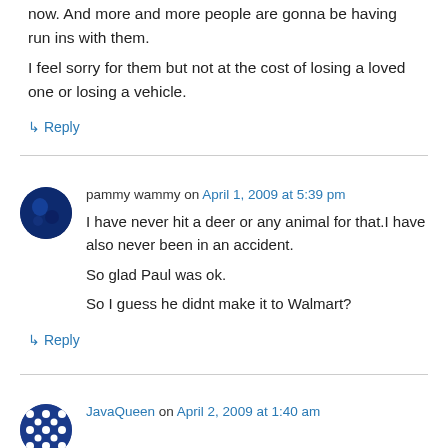now. And more and more people are gonna be having run ins with them.
I feel sorry for them but not at the cost of losing a loved one or losing a vehicle.
↳ Reply
pammy wammy on April 1, 2009 at 5:39 pm
I have never hit a deer or any animal for that.I have also never been in an accident.
So glad Paul was ok.
So I guess he didnt make it to Walmart?
↳ Reply
JavaQueen on April 2, 2009 at 1:40 am